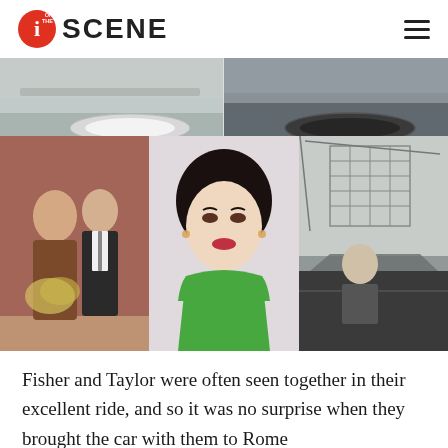i ON THE SCENE
[Figure (photo): Two-panel photo collage showing vintage car details — white-walled tires and chrome, black and white photography]
[Figure (photo): Three-panel photo collage: left panel shows a couple (woman in brown with flowers, man in suit), center panel shows a glamorous woman in green dress with dark short hair (Elizabeth Taylor-style portrait), right panel is black and white photo of person in convertible car with construction scaffolding in background]
Fisher and Taylor were often seen together in their excellent ride, and so it was no surprise when they brought the car with them to Rome